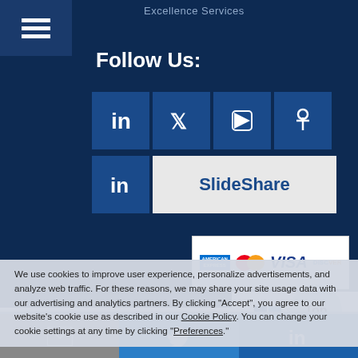Excellence Services
Follow Us:
[Figure (infographic): Social media icons: LinkedIn, Twitter, YouTube, Pinterest, LinkedIn SlideShare]
[Figure (infographic): Payment logos: American Express, MasterCard, VISA, Discover; Secured by PayPal badge]
We use cookies to improve user experience, personalize advertisements, and analyze web traffic. For these reasons, we may share your site usage data with our advertising and analytics partners. By clicking "Accept", you agree to our website's cookie use as described in our Cookie Policy. You can change your cookie settings at any time by clicking "Preferences".
About Us | Newsletter Subscription | Careers | Contact Us | FAQ | Share Your Suggestion | Sitemap | Videos | Blog
All contents Copyright 1990-2022 Best Practices, LLC (919) 403-0251 Reproduction Prohibited